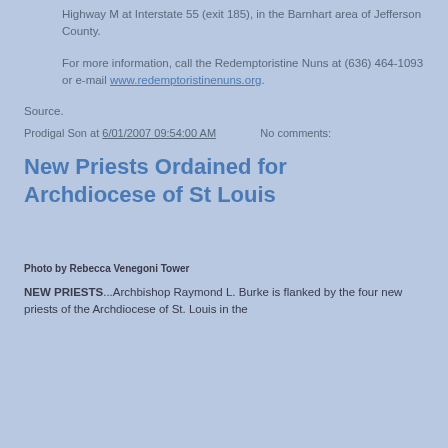Highway M at Interstate 55 (exit 185), in the Barnhart area of Jefferson County.
For more information, call the Redemptoristine Nuns at (636) 464-1093 or e-mail www.redemptoristinenuns.org.
Source.
Prodigal Son at 6/01/2007 09:54:00 AM    No comments:
New Priests Ordained for Archdiocese of St Louis
Photo by Rebecca Venegoni Tower
NEW PRIESTS...Archbishop Raymond L. Burke is flanked by the four new priests of the Archdiocese of St. Louis in the